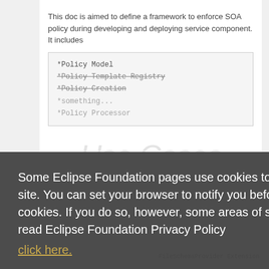This doc is aimed to define a framework to enforce SOA policy during developing and deploying service component. It includes
*Policy Model
*Policy Template Registry
*Policy Creation
*Policy Processor
Some Eclipse Foundation pages use cookies to better serve you when you return to the site. You can set your browser to notify you before you receive a cookie or turn off cookies. If you do so, however, some areas of some sites may not function properly. To read Eclipse Foundation Privacy Policy click here.
Decline
Allow cookies
FileSchemaProvider Extension